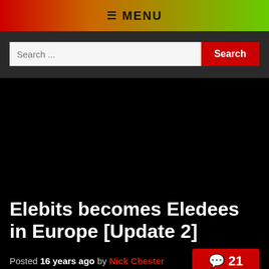☰ MENU
Search ...
Elebits becomes Eledees in Europe [Update 2]
Posted 16 years ago by Nick Chester  21